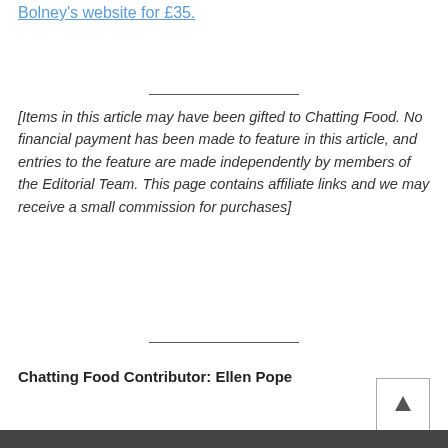Bolney's website for £35.
[Items in this article may have been gifted to Chatting Food. No financial payment has been made to feature in this article, and entries to the feature are made independently by members of the Editorial Team. This page contains affiliate links and we may receive a small commission for purchases]
Chatting Food Contributor: Ellen Pope